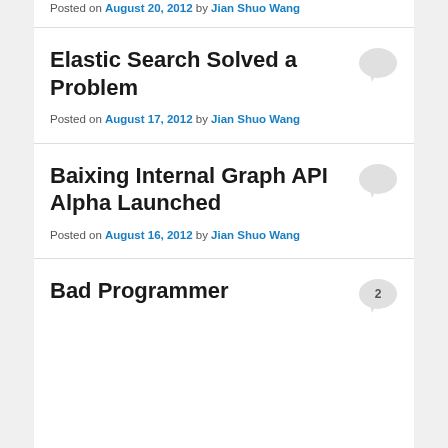Posted on August 20, 2012 by Jian Shuo Wang
Elastic Search Solved a Problem
Posted on August 17, 2012 by Jian Shuo Wang
Baixing Internal Graph API Alpha Launched
Posted on August 16, 2012 by Jian Shuo Wang
Bad Programmer